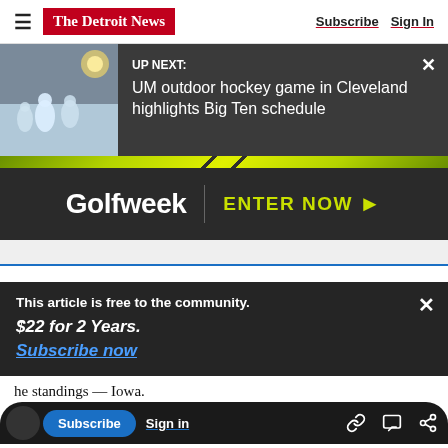The Detroit News | Subscribe | Sign In
[Figure (screenshot): UP NEXT banner with hockey image thumbnail. Text reads: UP NEXT: UM outdoor hockey game in Cleveland highlights Big Ten schedule]
[Figure (infographic): Golfweek advertisement banner with dark background. White Golfweek logo text, vertical divider, and lime-green ENTER NOW text with arrow.]
[Figure (screenshot): Subscription overlay panel: 'This article is free to the community. $22 for 2 Years. Subscribe now' with X close button]
he standings — Iowa.
Wednesday, their second loss in the last three